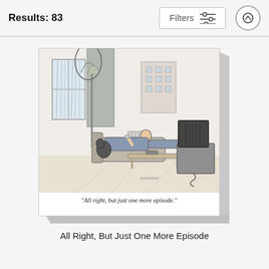Results: 83
[Figure (screenshot): Filters button with sliders icon and up-arrow circle button in top navigation bar]
[Figure (illustration): New Yorker style cartoon canvas print showing a man lying on a couch watching TV with caption 'All right, but just one more episode.']
All Right, But Just One More Episode